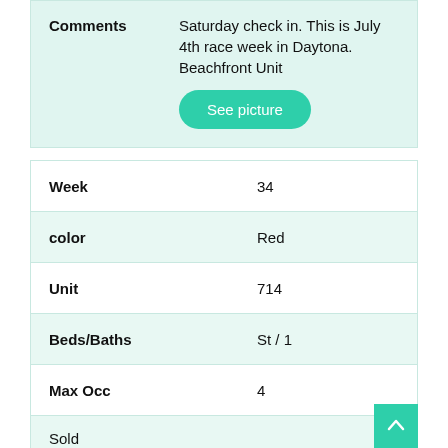| Field | Value |
| --- | --- |
| Comments | Saturday check in. This is July 4th race week in Daytona. Beachfront Unit |
| Week | 34 |
| color | Red |
| Unit | 714 |
| Beds/Baths | St / 1 |
| Max Occ | 4 |
| Sold |  |